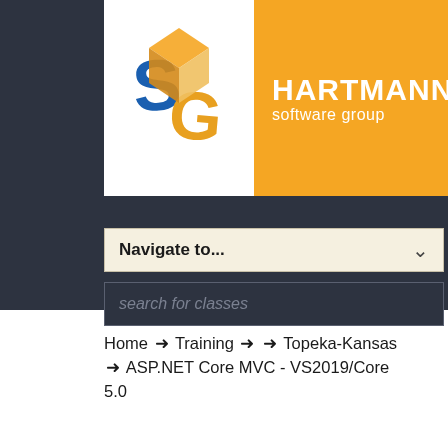[Figure (logo): Hartmann Software Group logo: colorful 3D cube/box icon on white background beside orange rectangle with white bold text 'HARTMANN software group']
Navigate to...
search for classes
Home → Training → → Topeka-Kansas → ASP.NET Core MVC - VS2019/Core 5.0